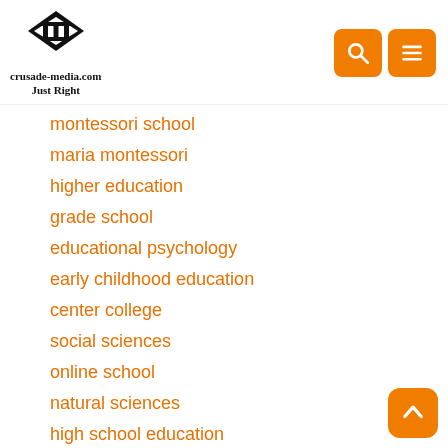[Figure (logo): crusade-media.com Just Right website logo with diamond and column icon]
montessori school
maria montessori
higher education
grade school
educational psychology
early childhood education
center college
social sciences
online school
natural sciences
high school education
health education